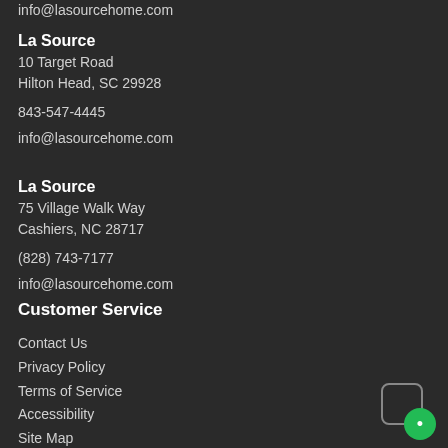info@lasourcehome.com
La Source
10 Target Road
Hilton Head, SC 29928
843-547-4445
info@lasourcehome.com
La Source
75 Village Walk Way
Cashiers, NC 28717
(828) 743-7177
info@lasourcehome.com
Customer Service
Contact Us
Privacy Policy
Terms of Service
Accessibility
Site Map
Do Not Sell My Personal Information
[Figure (other): Chat widget button with green circle and chat icon]